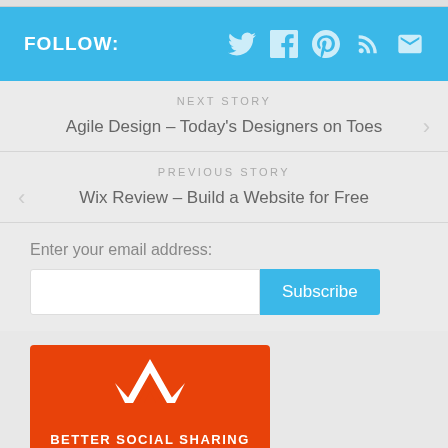FOLLOW: [Twitter] [Facebook] [Pinterest] [RSS] [Email]
NEXT STORY
Agile Design – Today's Designers on Toes
PREVIOUS STORY
Wix Review – Build a Website for Free
Enter your email address:
Subscribe
[Figure (logo): Orange banner with white M logo and text BETTER SOCIAL SHARING]